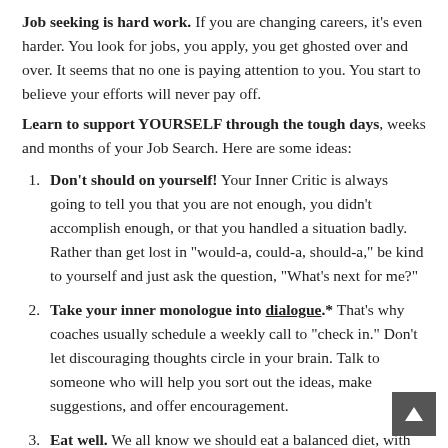Job seeking is hard work. If you are changing careers, it's even harder. You look for jobs, you apply, you get ghosted over and over. It seems that no one is paying attention to you. You start to believe your efforts will never pay off.
Learn to support YOURSELF through the tough days, weeks and months of your Job Search. Here are some ideas:
Don't should on yourself! Your Inner Critic is always going to tell you that you are not enough, you didn't accomplish enough, or that you handled a situation badly. Rather than get lost in "would-a, could-a, should-a," be kind to yourself and just ask the question, "What's next for me?"
Take your inner monologue into dialogue.* That's why coaches usually schedule a weekly call to "check in." Don't let discouraging thoughts circle in your brain. Talk to someone who will help you sort out the ideas, make suggestions, and offer encouragement.
Eat well. We all know we should eat a balanced diet, with